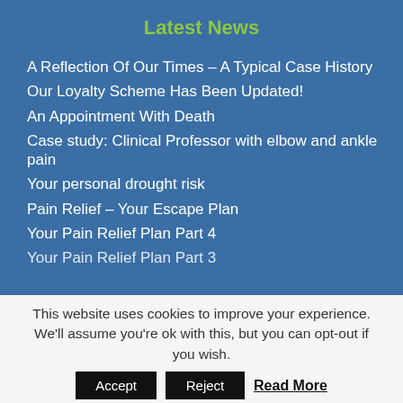Latest News
A Reflection Of Our Times – A Typical Case History
Our Loyalty Scheme Has Been Updated!
An Appointment With Death
Case study: Clinical Professor with elbow and ankle pain
Your personal drought risk
Pain Relief – Your Escape Plan
Your Pain Relief Plan Part 4
Your Pain Relief Plan Part 3
This website uses cookies to improve your experience. We'll assume you're ok with this, but you can opt-out if you wish.
Accept  Reject  Read More